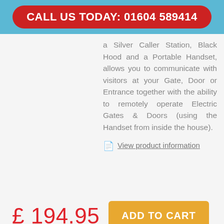CALL US TODAY: 01604 589414
a Silver Caller Station, Black Hood and a Portable Handset, allows you to communicate with visitors at your Gate, Door or Entrance together with the ability to remotely operate Electric Gates & Doors (using the Handset from inside the house).
View product information
£ 194.95
ADD TO CART
Quick view
More info
Need help?